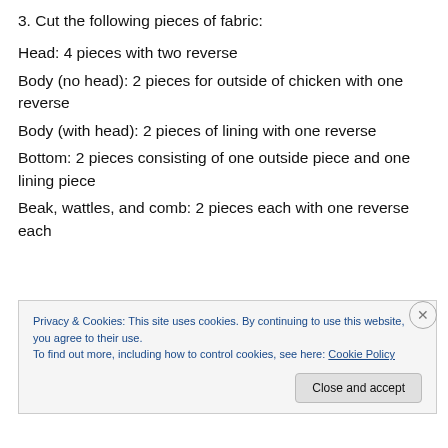3. Cut the following pieces of fabric:
Head: 4 pieces with two reverse
Body (no head): 2 pieces for outside of chicken with one reverse
Body (with head): 2 pieces of lining with one reverse
Bottom: 2 pieces consisting of one outside piece and one lining piece
Beak, wattles, and comb: 2 pieces each with one reverse each
Privacy & Cookies: This site uses cookies. By continuing to use this website, you agree to their use. To find out more, including how to control cookies, see here: Cookie Policy